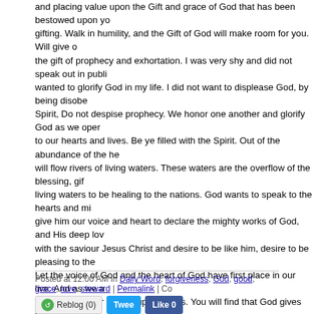and placing value upon the Gift and grace of God that has been bestowed upon you in your gifting. Walk in humility, and the Gift of God will make room for you. Will give opportunity to the gift of prophecy and exhortation. I was very shy and did not speak out in public, but I wanted to glorify God in my life. I did not want to displease God, by being disobedient to the Spirit, Do not despise prophecy. We honor one another and glorify God as we open our hearts to our hearts and lives. Be ye filled with the Spirit. Out of the abundance of the heart the mouth will flow rivers of living waters. These waters are the overflow of the blessing, gift, anointing of living waters to be healing to the nations. God wants to speak to the hearts and minds of men, give him our voice and heart to declare the mighty works of God, and His deep love. Fall in love with the saviour Jesus Christ and desire to be like him, desire to be pleasing to the Lord. Let the voice of God and the heart of God have first place in our live. And as we are faithful with the gift and favor of God upon others. You will find that God gives the increase. Increase in compassion for others. Increase with a desire to be close to God, to please Him, to hear him reward you for your faithfulness. As I tried to explain earlier, I asked the Lord in my prayer to release the Love of God in my life, and I wanted the people to be edified with the heart and love of God. Even in my beginnings, in my childish ways, He is faithful. He started to use someone in tongues and them the Lord would give me the interpretation. I would begin to hear the voice of God, words come to me and continue to repeat themselves. Until I decided to release them to the Church, the heart of God wanted to be release to love and comfort his people. As time went by I started to build confidence in Gods gift in me. I began to start to prophecy in meetings with only the gift of tongues in the meetings to stir up my faith. See as we are faithful to God, we edify and stir up one another. So that the other person will begin to operate in the Giftings of God. Glory to God. The anointing of God upon your life will enable you to hear the voice of God, give you a desire to be a God pleaser. Walk in faith and love and see the Gift of God operate in your life. Be blessed. Please join us and add your comments at our social website: http://mygodspace.nin email us at info@god4men.org Visit us on the web: http://www.god4men.org
Posted at 12:00 AM in Daily Word, forgiveness, God, good, grace, love, steward | Permalink | Co...